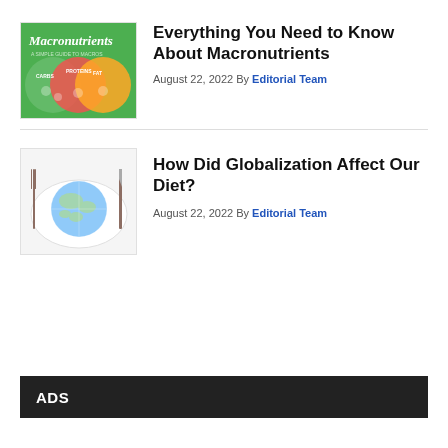[Figure (illustration): Macronutrients book cover with colorful overlapping circles labeled carbs, proteins, fats on a green/pink/orange background with food icons]
Everything You Need to Know About Macronutrients
August 22, 2022 By Editorial Team
[Figure (photo): Globe map on a white plate with a fork and knife, representing globalization of diet]
How Did Globalization Affect Our Diet?
August 22, 2022 By Editorial Team
ADS